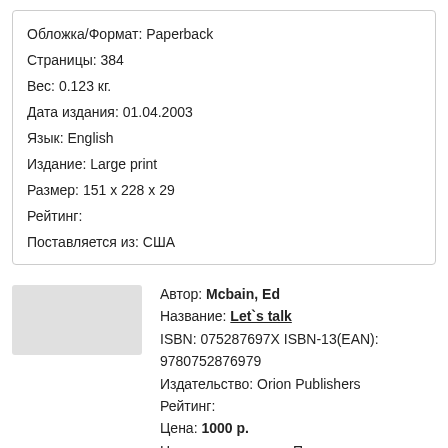Обложка/Формат: Paperback
Страницы: 384
Вес: 0.123 кг.
Дата издания: 01.04.2003
Язык: English
Издание: Large print
Размер: 151 х 228 х 29
Рейтинг:
Поставляется из: США
Автор: Mcbain, Ed
Название: Let`s talk
ISBN: 075287697X ISBN-13(EAN): 9780752876979
Издательство: Orion Publishers
Рейтинг:
Цена: 1000 р.
Наличие на складе: Поставка под заказ.